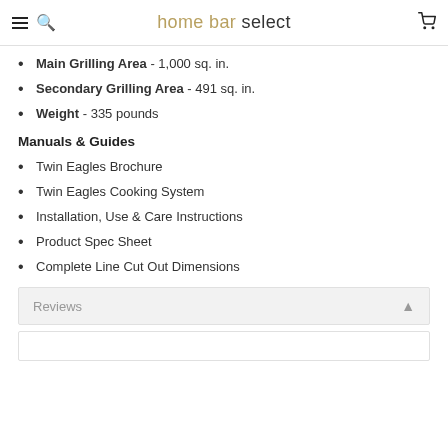home bar select
Main Grilling Area - 1,000 sq. in.
Secondary Grilling Area - 491 sq. in.
Weight - 335 pounds
Manuals & Guides
Twin Eagles Brochure
Twin Eagles Cooking System
Installation, Use & Care Instructions
Product Spec Sheet
Complete Line Cut Out Dimensions
Reviews